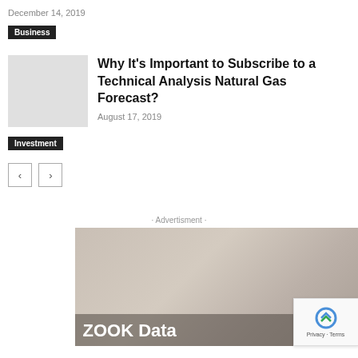December 14, 2019
Business
Why It’s Important to Subscribe to a Technical Analysis Natural Gas Forecast?
August 17, 2019
Investment
· Advertisment ·
[Figure (photo): Advertisement banner with a laptop and hands in the background, featuring ZOOK Data branding text on a semi-transparent dark overlay]